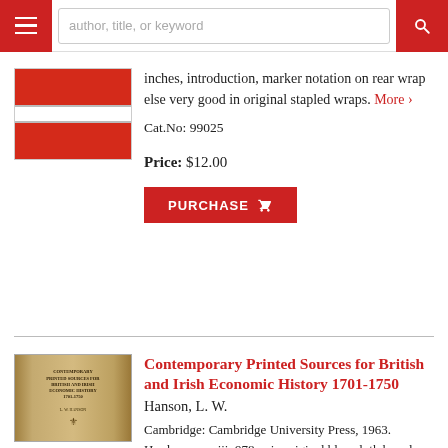author, title, or keyword
inches, introduction, marker notation on rear wrap else very good in original stapled wraps. More >
Cat.No: 99025
Price: $12.00
PURCHASE
Contemporary Printed Sources for British and Irish Economic History 1701-1750
Hanson, L. W.
Cambridge: Cambridge University Press, 1963. Hardcover. xxiii, 978p., in original blue cloth boards, publisher's blank torn out, ex-library with usual